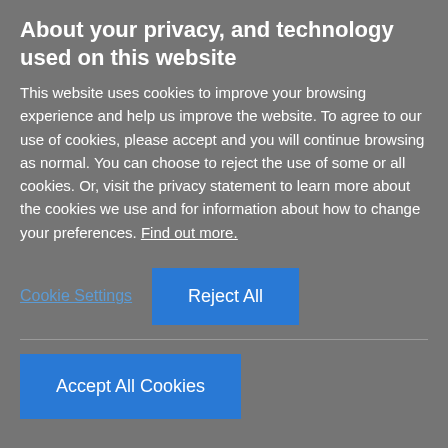About your privacy, and technology used on this website
This website uses cookies to improve your browsing experience and help us improve the website. To agree to our use of cookies, please accept and you will continue browsing as normal. You can choose to reject the use of some or all cookies. Or, visit the privacy statement to learn more about the cookies we use and for information about how to change your preferences. Find out more.
Cookie Settings
Reject All
Accept All Cookies
07 July 2016
Last month, the Executive Power of Uruguay, through